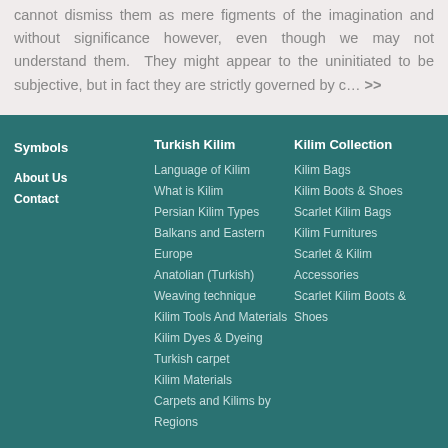cannot dismiss them as mere figments of the imagination and without significance however, even though we may not understand them. They might appear to the uninitiated to be subjective, but in fact they are strictly governed by c… >>
Symbols
About Us
Contact
Turkish Kilim
Language of Kilim
What is Kilim
Persian Kilim Types
Balkans and Eastern Europe
Anatolian (Turkish)
Weaving technique
Kilim Tools And Materials
Kilim Dyes & Dyeing
Turkish carpet
Kilim Materials
Carpets and Kilims by Regions
Kilim Collection
Kilim Bags
Kilim Boots & Shoes
Scarlet Kilim Bags
Kilim Furnitures
Scarlet & Kilim Accessories
Scarlet Kilim Boots & Shoes
© 2019 Yunart Kilim Collection | Yunart Google+